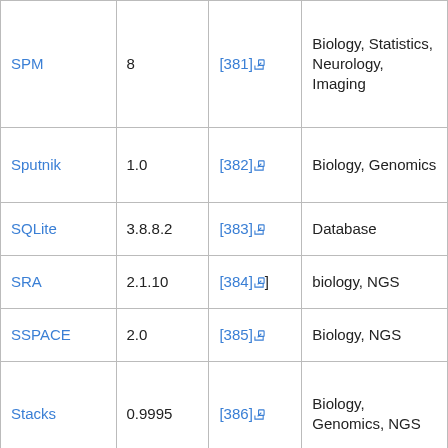| SPM | 8 | [381] | Biology, Statistics, Neurology, Imaging |
| Sputnik | 1.0 | [382] | Biology, Genomics |
| SQLite | 3.8.8.2 | [383] | Database |
| SRA | 2.1.10 | [384] | biology, NGS |
| SSPACE | 2.0 | [385] | Biology, NGS |
| Stacks | 0.9995 | [386] | Biology, Genomics, NGS |
| STAR | 2.3.0e | [387] | Biology, NGS, Alignment |
| STAR-CCM+ | 8.06 | [388] | Mechanical Engineering |
| Stata | 10.1, 13 | [389] | Statistics, Data analysis |